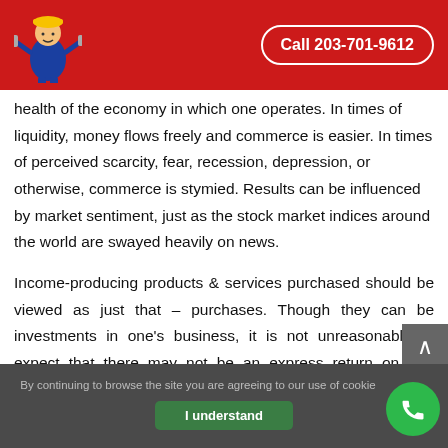Call 203-701-9612
health of the economy in which one operates. In times of liquidity, money flows freely and commerce is easier. In times of perceived scarcity, fear, recession, depression, or otherwise, commerce is stymied. Results can be influenced by market sentiment, just as the stock market indices around the world are swayed heavily on news.
Income-producing products & services purchased should be viewed as just that – purchases. Though they can be investments in one's business, it is not unreasonable to expect that there may not be an express return on that investment, per se. Often, business success is the convergence of a number of factors, methods, strategies,
By continuing to browse the site you are agreeing to our use of cookie
I understand